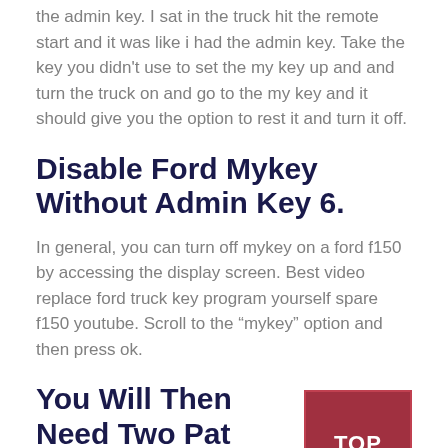the admin key. I sat in the truck hit the remote start and it was like i had the admin key. Take the key you didn't use to set the my key up and and turn the truck on and go to the my key and it should give you the option to rest it and turn it off.
Disable Ford Mykey Without Admin Key 6.
In general, you can turn off mykey on a ford f150 by accessing the display screen. Best video replace ford truck key program yourself spare f150 youtube. Scroll to the “mykey” option and then press ok.
You Will Then Need Two Pat Keys.
Dont know if it will work for everyone but heres what i did. Go into the settings and disable ford mykey. Turn on your